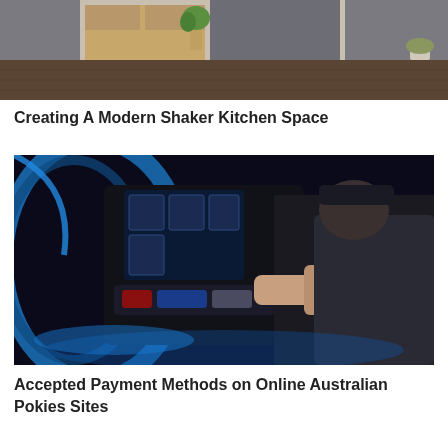[Figure (photo): Modern kitchen interior with wooden cabinetry, dark hardwood floors, a potted plant, and kitchen appliances]
Creating A Modern Shaker Kitchen Space
[Figure (photo): Person playing on a slot machine in a casino with blue neon lights visible]
Accepted Payment Methods on Online Australian Pokies Sites